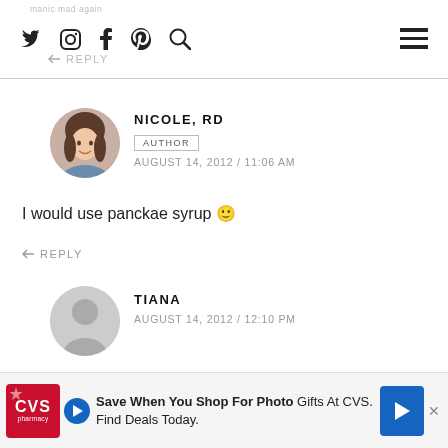Social icons: Twitter, Instagram, Facebook, Pinterest, Search | Hamburger menu
← REPLY
NICOLE, RD
AUTHOR
AUGUST 14, 2012 / 11:06 AM
I would use panckae syrup 🙂
← REPLY
TIANA
AUGUST 14, 2012 / 12:10 PM
I managed to get maple syrup finally, but the best I could find was artificially flavoured maple syrup. Hope that'll be fine. 🙂
[Figure (screenshot): CVS pharmacy advertisement banner: Save When You Shop For Photo Gifts At CVS. Find Deals Today.]